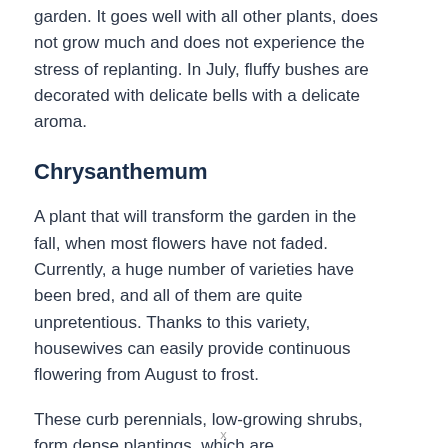garden. It goes well with all other plants, does not grow much and does not experience the stress of replanting. In July, fluffy bushes are decorated with delicate bells with a delicate aroma.
Chrysanthemum
A plant that will transform the garden in the fall, when most flowers have not faded. Currently, a huge number of varieties have been bred, and all of them are quite unpretentious. Thanks to this variety, housewives can easily provide continuous flowering from August to frost.
These curb perennials, low-growing shrubs, form dense plantings, which are recommended to be replanted every 2-3 years.
x